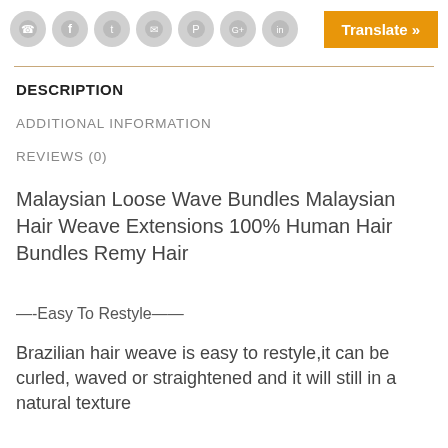[Figure (other): Row of social media icon buttons (phone, Facebook, Twitter, email, Pinterest, Google+, LinkedIn) in gray circles, and an orange Translate button]
DESCRIPTION
ADDITIONAL INFORMATION
REVIEWS (0)
Malaysian Loose Wave Bundles Malaysian Hair Weave Extensions 100% Human Hair Bundles Remy Hair
—-Easy To Restyle——
Brazilian hair weave is easy to restyle,it can be curled, waved or straightened and it will still in a natural texture